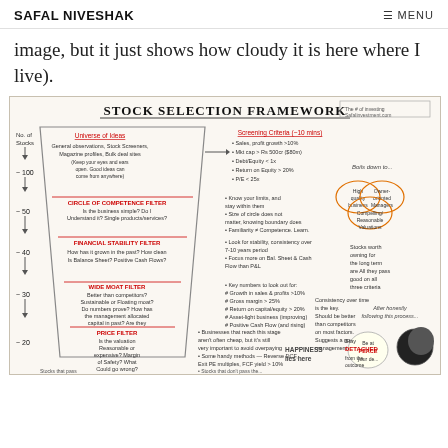SAFAL NIVESHAK    ☰ MENU
image, but it just shows how cloudy it is here where I live).
[Figure (infographic): Stock Selection Framework infographic showing a funnel with multiple filters: Universe of Ideas (~100 stocks), Circle of Competence Filter (~50), Financial Stability Filter (~40), Wide Moat Filter (~30), Price Filter (~20). Right side shows Venn diagram of High quality business, Owner-oriented managers, Compelling/reasonable valuations. Screening criteria, key metrics, and notes on happiness and being at peace shown throughout.]